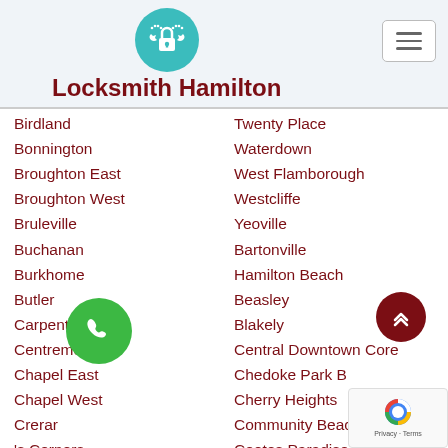[Figure (logo): Locksmith Hamilton logo: teal circle with white padlock and wrench icon]
Locksmith Hamilton
Birdland
Bonnington
Broughton East
Broughton West
Bruleville
Buchanan
Burkhome
Butler
Carpenter
Centremount
Chapel East
Chapel West
Crerar
's Corners
ount
nor
Elfrida
Falkirk East
Twenty Place
Waterdown
West Flamborough
Westcliffe
Yeoville
Bartonville
Hamilton Beach
Beasley
Blakely
Central Downtown Core
Chedoke Park B
Cherry Heights
Community Beach
Cootes Paradise
Corktown
Corman
Crown Point East
Crown Point West